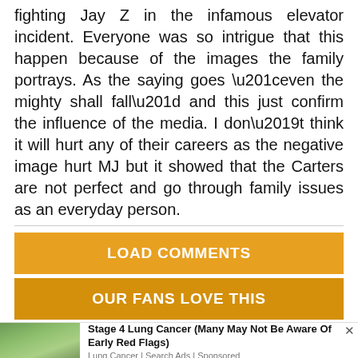fighting Jay Z in the infamous elevator incident. Everyone was so intrigue that this happen because of the images the family portrays. As the saying goes “even the mighty shall fall” and this just confirm the influence of the media. I don’t think it will hurt any of their careers as the negative image hurt MJ but it showed that the Carters are not perfect and go through family issues as an everyday person.
LOAD COMMENTS
OUR FANS LOVE THIS
[Figure (photo): A person sitting outdoors in a grassy area, appearing distressed, wearing a white sleeveless top.]
Stage 4 Lung Cancer (Many May Not Be Aware Of Early Red Flags)
Lung Cancer | Search Ads | Sponsored